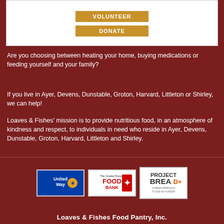[Figure (other): White box with two golden buttons: VOLUNTEER and DONATE]
Are you choosing between heating your home, buying medications or feeding yourself and your family?
If you live in Ayer, Devens, Dunstable, Groton, Harvard, Littleton or Shirley, we can help!
Loaves & Fishes' mission is to provide nutritious food, in an atmosphere of kindness and respect, to individuals in need who reside in Ayer, Devens, Dunstable, Groton, Harvard, Littleton and Shirley.
[Figure (logo): Three logos: United Way, The Greater Boston Food Bank, Project Bread]
Loaves & Fishes Food Pantry, Inc.